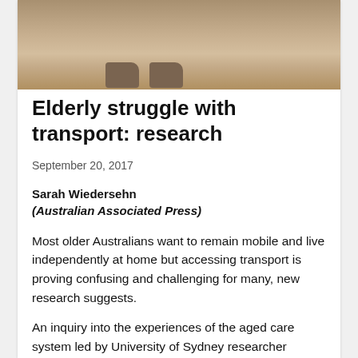[Figure (photo): Partial view of people's legs and feet in hiking boots/shoes, seated on what appears to be a wooden bench or structure with a stone or rocky ground surface visible.]
Elderly struggle with transport: research
September 20, 2017
Sarah Wiedersehn
(Australian Associated Press)
Most older Australians want to remain mobile and live independently at home but accessing transport is proving confusing and challenging for many, new research suggests.
An inquiry into the experiences of the aged care system led by University of Sydney researcher Professor Yun-Hee Jeon in partnership with the